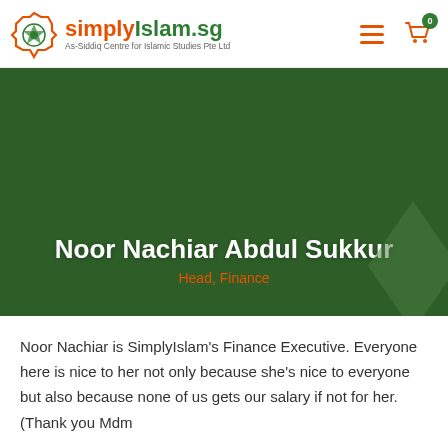simplyIslam.sg — As-Siddiq Centre for Islamic Studies Pte Ltd
[Figure (illustration): simplyIslam.sg website hero banner showing name Noor Nachiar Abdul Sukkur and title Head, Finance on a dark green background with decorative diamond shape in bottom right corner]
Noor Nachiar Abdul Sukkur
Head, Finance
Noor Nachiar is SimplyIslam's Finance Executive. Everyone here is nice to her not only because she's nice to everyone but also because none of us gets our salary if not for her. (Thank you Mdm